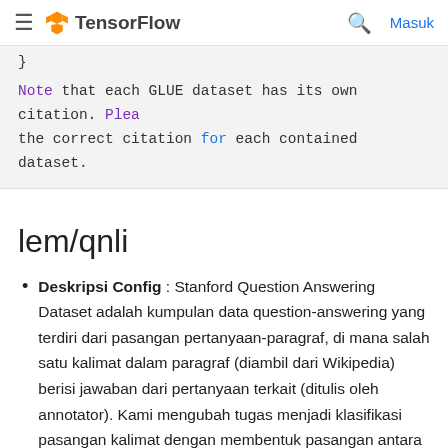TensorFlow — Masuk
}
Note that each GLUE dataset has its own citation. Plea the correct citation for each contained dataset.
lem/qnli
Deskripsi Config : Stanford Question Answering Dataset adalah kumpulan data question-answering yang terdiri dari pasangan pertanyaan-paragraf, di mana salah satu kalimat dalam paragraf (diambil dari Wikipedia) berisi jawaban dari pertanyaan terkait (ditulis oleh annotator). Kami mengubah tugas menjadi klasifikasi pasangan kalimat dengan membentuk pasangan antara setiap pertanyaan dan